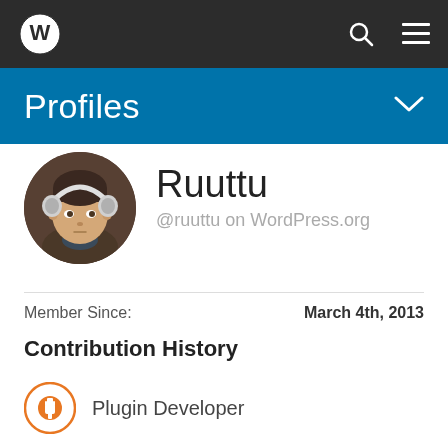WordPress navigation bar with logo, search, and menu icons
Profiles
[Figure (photo): Circular avatar photo of a young man wearing headphones]
Ruuttu
@ruuttu on WordPress.org
Member Since: March 4th, 2013
Contribution History
Plugin Developer